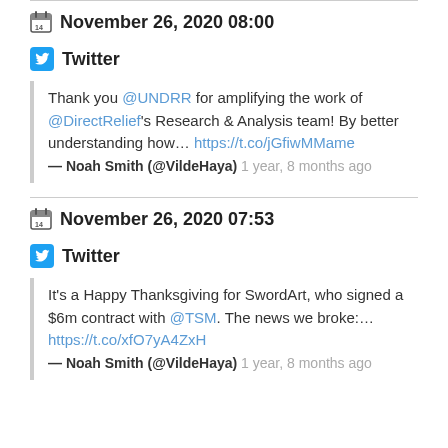November 26, 2020 08:00
Twitter
Thank you @UNDRR for amplifying the work of @DirectRelief's Research & Analysis team! By better understanding how… https://t.co/jGfiwMMame — Noah Smith (@VildeHaya) 1 year, 8 months ago
November 26, 2020 07:53
Twitter
It's a Happy Thanksgiving for SwordArt, who signed a $6m contract with @TSM. The news we broke:… https://t.co/xfO7yA4ZxH — Noah Smith (@VildeHaya) 1 year, 8 months ago